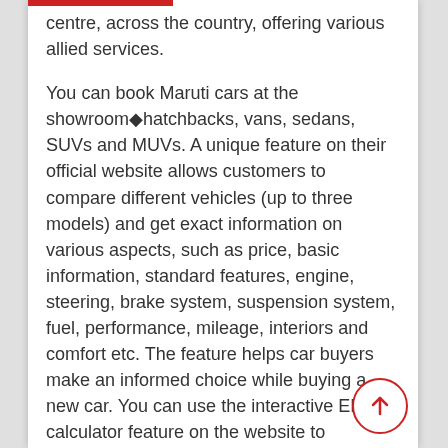website of being the largest 50 Maruti centre, across the country, offering various allied services.
You can book Maruti cars at the showroom◆hatchbacks, vans, sedans, SUVs and MUVs. A unique feature on their official website allows customers to compare different vehicles (up to three models) and get exact information on various aspects, such as price, basic information, standard features, engine, steering, brake system, suspension system, fuel, performance, mileage, interiors and comfort etc. The feature helps car buyers make an informed choice while buying a new car. You can use the interactive EMI calculator feature on the website to calculate the EMI for different periods and amounts.
Maijo Motors has facilities to service and accessories cars. They also insure new vehicles and exchange old cars. Maijo Motors is a True